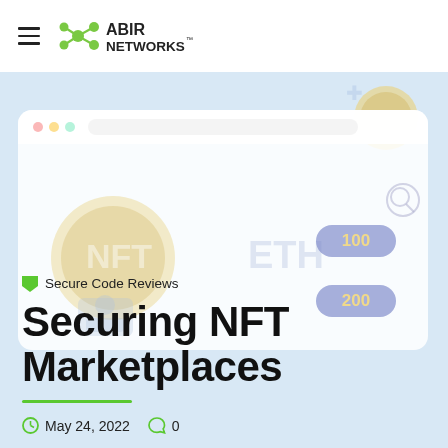ABIR NETWORKS
[Figure (illustration): Hero banner illustration showing an NFT marketplace browser mockup with NFT and ETH tokens, price tags showing 100 and 200, on a light blue background with decorative crypto coin and star shapes]
Secure Code Reviews
Securing NFT Marketplaces
May 24, 2022  0